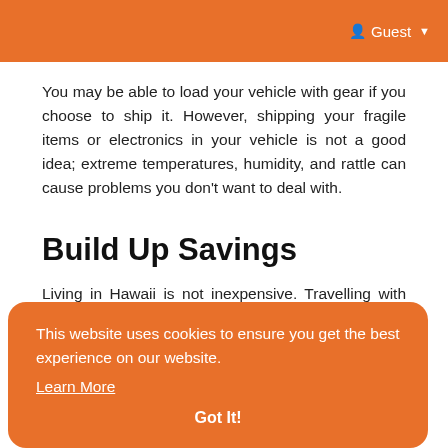Guest
You may be able to load your vehicle with gear if you choose to ship it. However, shipping your fragile items or electronics in your vehicle is not a good idea; extreme temperatures, humidity, and rattle can cause problems you don't want to deal with.
Build Up Savings
Living in Hawaii is not inexpensive. Travelling with children may necessitate the search for a private school. Even if they adjust well, you'll probably feel more at ease about your finances if you or your partner can move while working remotely. Savings, on the other hand, will make it much easier to settle in.

If you plan to sell your current home before moving to Hawaii, you'll have some cash on the right side of your ledger.
This website uses cookies to ensure you get the best experience on our website. Learn More Got It!